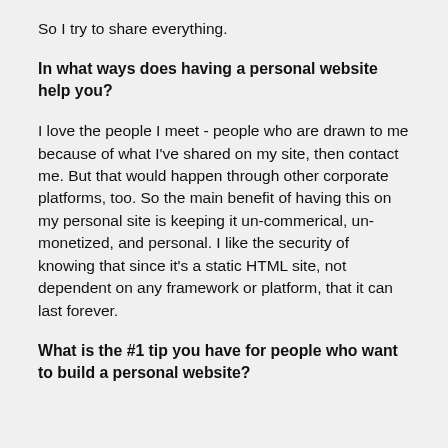So I try to share everything.
In what ways does having a personal website help you?
I love the people I meet - people who are drawn to me because of what I've shared on my site, then contact me. But that would happen through other corporate platforms, too. So the main benefit of having this on my personal site is keeping it un-commerical, un-monetized, and personal. I like the security of knowing that since it's a static HTML site, not dependent on any framework or platform, that it can last forever.
What is the #1 tip you have for people who want to build a personal website?